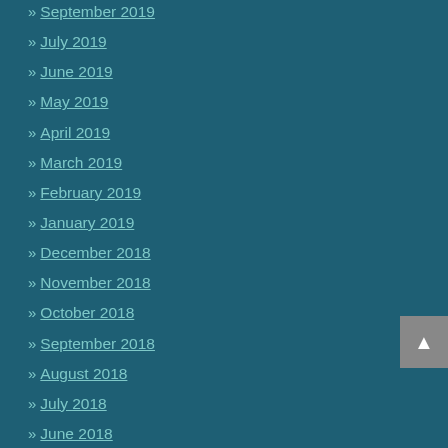» September 2019
» July 2019
» June 2019
» May 2019
» April 2019
» March 2019
» February 2019
» January 2019
» December 2018
» November 2018
» October 2018
» September 2018
» August 2018
» July 2018
» June 2018